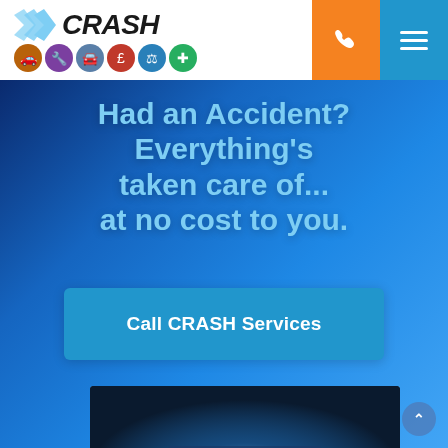[Figure (logo): CRASH Services logo with chevron arrows and colored service icons]
Had an Accident? Everything’s taken care of... at no cost to you.
Call CRASH Services
[Figure (photo): Car interior/dashboard photo at bottom of hero section]